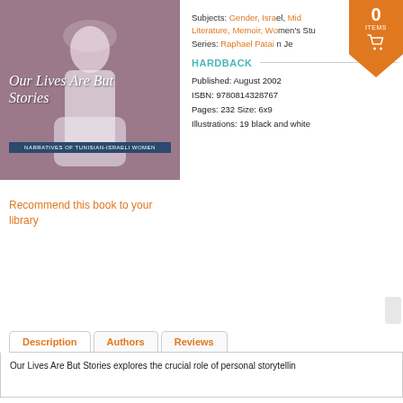[Figure (photo): Book cover for 'Our Lives Are But Stories: Narratives of Tunisian-Israeli Women', showing a bride in white dress, sepia-toned photograph]
Subjects: Gender, Israel, Middle East, Literature, Memoir, Women's Studies
Series: Raphael Patai Series in Jewish...
HARDBACK
Published: August 2002
ISBN: 9780814328767
Pages: 232 Size: 6x9
Illustrations: 19 black and white
Recommend this book to your library
Description | Authors | Reviews
Our Lives Are But Stories explores the crucial role of personal storytellin